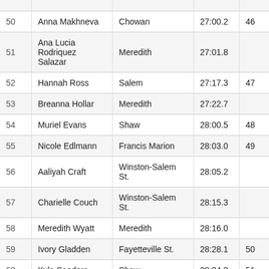| Place | Name | School | Time | Pts |
| --- | --- | --- | --- | --- |
| 50 | Anna Makhneva | Chowan | 27:00.2 | 46 |
| 51 | Ana Lucia Rodriquez Salazar | Meredith | 27:01.8 |  |
| 52 | Hannah Ross | Salem | 27:17.3 | 47 |
| 53 | Breanna Hollar | Meredith | 27:22.7 |  |
| 54 | Muriel Evans | Shaw | 28:00.5 | 48 |
| 55 | Nicole Edlmann | Francis Marion | 28:03.0 | 49 |
| 56 | Aaliyah Craft | Winston-Salem St. | 28:05.2 |  |
| 57 | Charielle Couch | Winston-Salem St. | 28:15.3 |  |
| 58 | Meredith Wyatt | Meredith | 28:16.0 |  |
| 59 | Ivory Gladden | Fayetteville St. | 28:28.1 | 50 |
| 60 | Kyla Sanders | Shaw | 28:34.3 | 51 |
| 61 | Tearra Arrington | Shaw | 28:37.2 | 52 |
| 62 | Jbetame Lacan | Shaw | 28:55.2 | 53 |